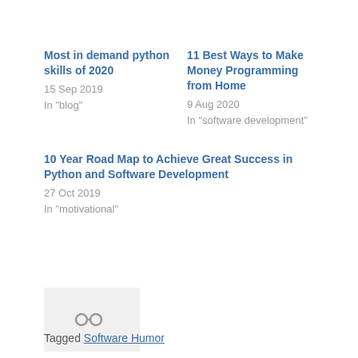Most in demand python skills of 2020
15 Sep 2019
In "blog"
11 Best Ways to Make Money Programming from Home
9 Aug 2020
In "software development"
10 Year Road Map to Achieve Great Success in Python and Software Development
27 Oct 2019
In "motivational"
[Figure (other): Avatar/profile image placeholder with a link/share icon]
Tagged Software Humor